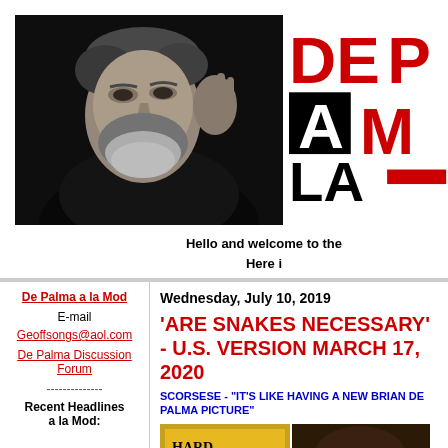[Figure (photo): Black and white photo of a bearded man looking upward, gesturing with his hand]
[Figure (logo): De Palma a la Mod logo with red and black letters: DE, PA, A, M, LA]
Hello and welcome to the
Here i
Wednesday, July 10, 2019
'ARE SNAKES NECESSARY' - U.S. VERSION MARCH 17, 2020
SCORSESE - "IT'S LIKE HAVING A NEW BRIAN DE PALMA PICTURE"
De Palma a la Mod
E-mail
Geoffsongs@aol.com
De Palma Discussion Forum
--------------
Recent Headlines a la Mod:
[Figure (illustration): Book cover image showing Hard Case Crime logo and partial book cover]